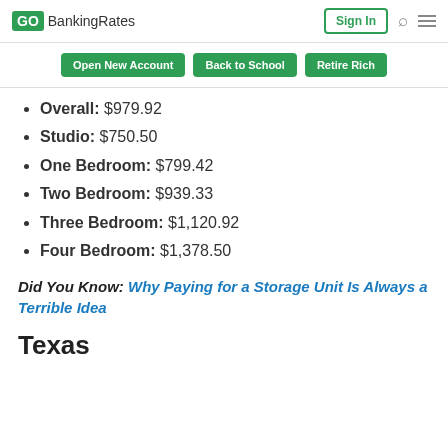GOBankingRates | Sign In
Overall: $979.92
Studio: $750.50
One Bedroom: $799.42
Two Bedroom: $939.33
Three Bedroom: $1,120.92
Four Bedroom: $1,378.50
Did You Know: Why Paying for a Storage Unit Is Always a Terrible Idea
Texas